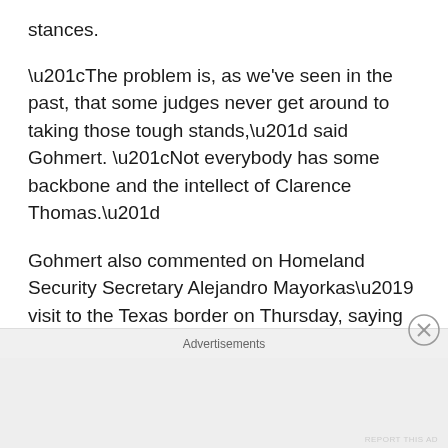stances.
“The problem is, as we've seen in the past, that some judges never get around to taking those tough stands,” said Gohmert. “Not everybody has some backbone and the intellect of Clarence Thomas.”
Gohmert also commented on Homeland Security Secretary Alejandro Mayorkas’ visit to the Texas border on Thursday, saying that keeping the border under control should not have been difficult for the Biden administration
Advertisements